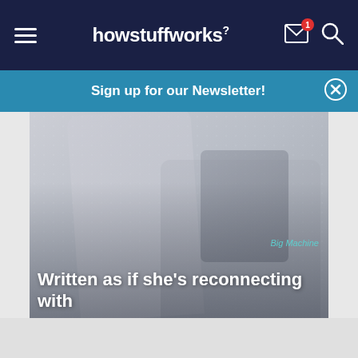howstuffworks
Sign up for our Newsletter!
[Figure (photo): Faded/washed-out photo of a person lying in bed, possibly looking at a phone, with a soft blurred background. Attribution: Big Machine.]
Written as if she's reconnecting with